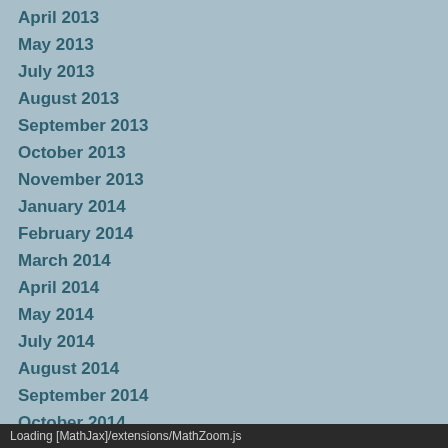April 2013
May 2013
July 2013
August 2013
September 2013
October 2013
November 2013
January 2014
February 2014
March 2014
April 2014
May 2014
July 2014
August 2014
September 2014
October 2014
November 2014
January 2015
February 2015
March 2015
As part of the March update on OX... through institutional title-by-title perp...
The Oxford Encyclopedia of t...
ABOUT
In comprehensive overviews, schola... nature, collections, and genres; (2) ... Eastern, Greco-Roman, and Early J... jurisprudence around the world. Ess... the Mount, Greek Law, and the au...
Loading [MathJax]/extensions/MathZoom.js